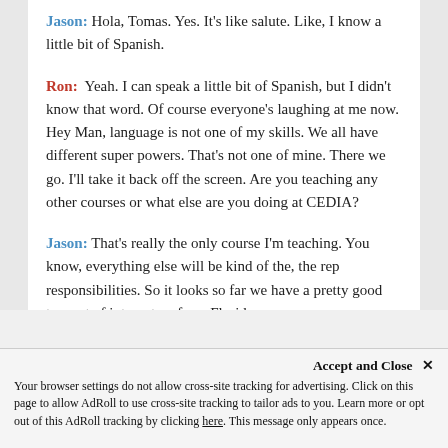Jason: Hola, Tomas. Yes. It's like salute. Like, I know a little bit of Spanish.
Ron: Yeah. I can speak a little bit of Spanish, but I didn't know that word. Of course everyone's laughing at me now. Hey Man, language is not one of my skills. We all have different super powers. That's not one of mine. There we go. I'll take it back off the screen. Are you teaching any other courses or what else are you doing at CEDIA?
Jason: That's really the only course I'm teaching. You know, everything else will be kind of the, the rep responsibilities. So it looks so far we have a pretty good turnout of integrators from Florida
Accept and Close ✕ Your browser settings do not allow cross-site tracking for advertising. Click on this page to allow AdRoll to use cross-site tracking to tailor ads to you. Learn more or opt out of this AdRoll tracking by clicking here. This message only appears once.